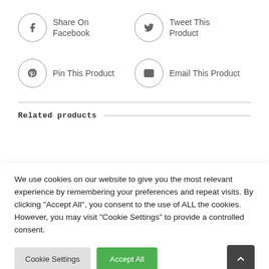Share On Facebook
Tweet This Product
Pin This Product
Email This Product
Related products
We use cookies on our website to give you the most relevant experience by remembering your preferences and repeat visits. By clicking "Accept All", you consent to the use of ALL the cookies. However, you may visit "Cookie Settings" to provide a controlled consent.
Cookie Settings
Accept All